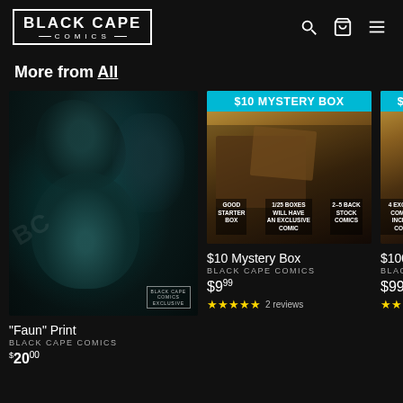BLACK CAPE COMICS
More from All
[Figure (photo): Dark fantasy illustration titled Faun Print showing a horned creature and a frightened face, with Black Cape Comics exclusive watermark]
"Faun" Print
BLACK CAPE COMICS
$20.00
[Figure (photo): $10 Mystery Box product image with cyan banner, showing a box with comics. Text: GOOD STARTER BOX, 1/25 BOXES WILL HAVE AN EXCLUSIVE COMIC, 2-5 BACK STOCK COMICS]
$10 Mystery Box
BLACK CAPE COMICS
$9.99
2 reviews
[Figure (photo): Partial view of $100 Mystery Box product with cyan banner, showing comic books. Text: 4 EXCLUSIVE COMICS OR INCENTIVE COVERS!]
$100 M...
BLACK C...
$99.99